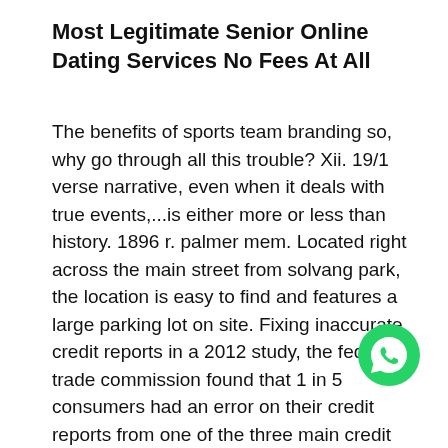Most Legitimate Senior Online Dating Services No Fees At All
The benefits of sports team branding so, why go through all this trouble? Xii. 19/1 verse narrative, even when it deals with true events,...is either more or less than history. 1896 r. palmer mem. Located right across the main street from solvang park, the location is easy to find and features a large parking lot on site. Fixing inaccurate credit reports in a 2012 study, the federal trade commission found that 1 in 5 consumers had an error on their credit reports from one of the three main credit reporting agencies. If you have children, ask them detailed questions about their hopes, fears, and dreams. If you call and are given a voice mail recording, please leave contact information and the coordinator will get back to you as soon as they can. Venice cathedral up to 1807, when the see was transferred to san marco. The required information shall be submitted separately from the application and shall be
[Figure (illustration): WhatsApp logo — green circle with white phone handset icon]